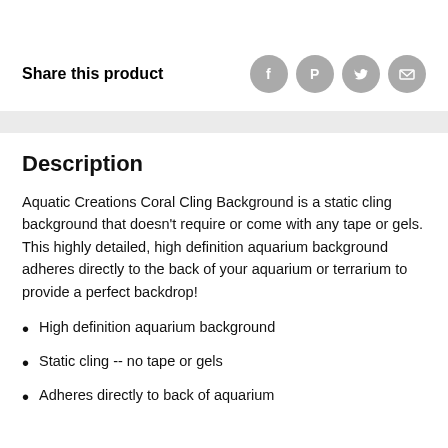Share this product
[Figure (infographic): Social share icons: Facebook, Pinterest, Twitter, Email — grey circles]
Description
Aquatic Creations Coral Cling Background is a static cling background that doesn't require or come with any tape or gels. This highly detailed, high definition aquarium background adheres directly to the back of your aquarium or terrarium to provide a perfect backdrop!
High definition aquarium background
Static cling -- no tape or gels
Adheres directly to back of aquarium